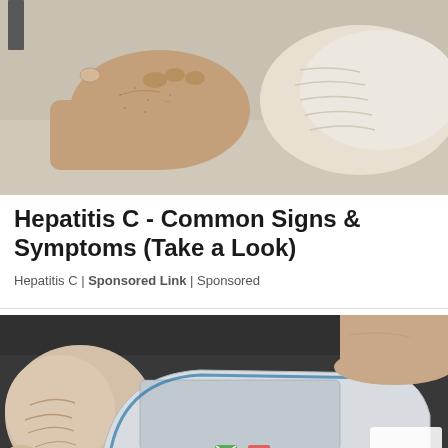[Figure (photo): Close-up photo of an elderly person's hands scratching or rubbing their ankle/foot area, wearing white socks. The skin appears aged with visible veins.]
Hepatitis C - Common Signs & Symptoms (Take a Look)
Hepatitis C | Sponsored Link | Sponsored
[Figure (photo): Photo showing a person's foot/heel area next to what appears to be a Nokia mobile phone on a dark surface. A reCAPTCHA logo is visible in the bottom right corner.]